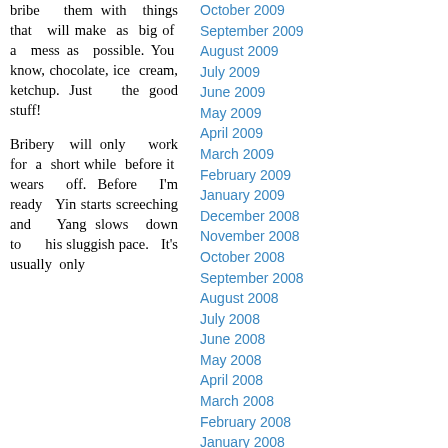bribe them with things that will make as big of a mess as possible. You know, chocolate, ice cream, ketchup. Just the good stuff!
Bribery will only work for a short while before it wears off. Before I'm ready Yin starts screeching and Yang slows down to his sluggish pace. It's usually only
October 2009
September 2009
August 2009
July 2009
June 2009
May 2009
April 2009
March 2009
February 2009
January 2009
December 2008
November 2008
October 2008
September 2008
August 2008
July 2008
June 2008
May 2008
April 2008
March 2008
February 2008
January 2008
December 2007
November 2007
October 2007
September 2007
August 2007
July 2007
June 2007
May 2007
April 2007
March 2007
February 2007
January 2007
December 2006
November 2006
October 2006
September 2006